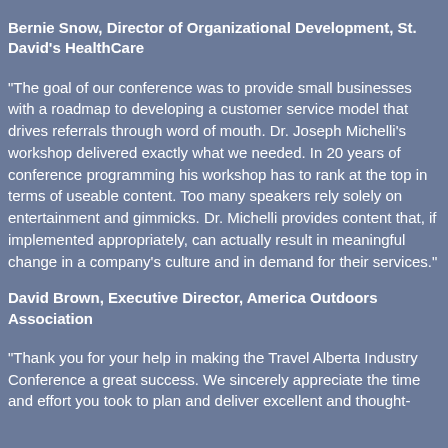Bernie Snow, Director of Organizational Development, St. David's HealthCare
“The goal of our conference was to provide small businesses with a roadmap to developing a customer service model that drives referrals through word of mouth. Dr. Joseph Michelli’s workshop delivered exactly what we needed. In 20 years of conference programming his workshop has to rank at the top in terms of useable content. Too many speakers rely solely on entertainment and gimmicks. Dr. Michelli provides content that, if implemented appropriately, can actually result in meaningful change in a company’s culture and in demand for their services.”
David Brown, Executive Director, America Outdoors Association
“Thank you for your help in making the Travel Alberta Industry Conference a great success. We sincerely appreciate the time and effort you took to plan and deliver excellent and thought-